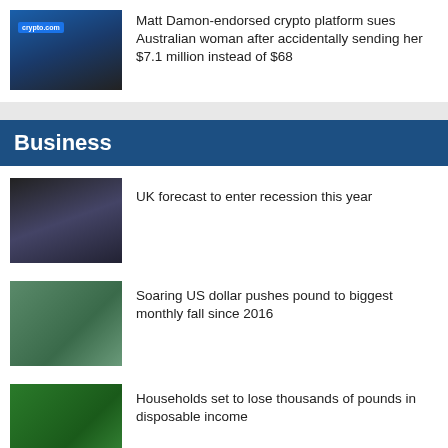[Figure (photo): crypto.com storefront exterior]
Matt Damon-endorsed crypto platform sues Australian woman after accidentally sending her $7.1 million instead of $68
Business
[Figure (photo): City street scene at night with people holding umbrellas]
UK forecast to enter recession this year
[Figure (photo): US dollar bills stacked together]
Soaring US dollar pushes pound to biggest monthly fall since 2016
[Figure (photo): Green shopping basket filled with grocery items]
Households set to lose thousands of pounds in disposable income